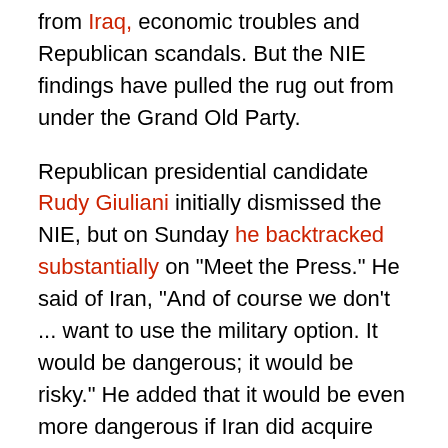from Iraq, economic troubles and Republican scandals. But the NIE findings have pulled the rug out from under the Grand Old Party.
Republican presidential candidate Rudy Giuliani initially dismissed the NIE, but on Sunday he backtracked substantially on "Meet the Press." He said of Iran, "And of course we don't ... want to use the military option. It would be dangerous; it would be risky." He added that it would be even more dangerous if Iran did acquire nuclear weapons, but immediately put on a mien of sweet reason: "We should utilize sanctions. We should utilize as much pressure as we're capable of." Now he represented the military option as a tool of diplomacy.